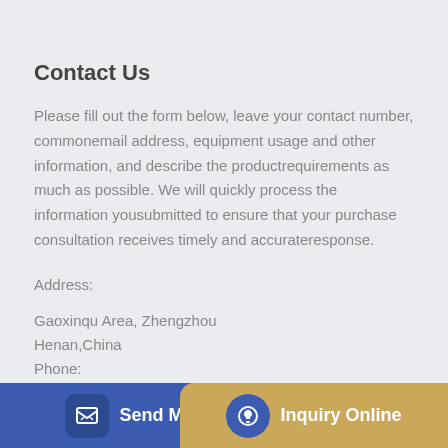Contact Us
Please fill out the form below, leave your contact number, commonemail address, equipment usage and other information, and describe the productrequirements as much as possible. We will quickly process the information yousubmitted to ensure that your purchase consultation receives timely and accurateresponse.
Address:
Gaoxinqu Area, Zhengzhou
Henan,China
Phone: